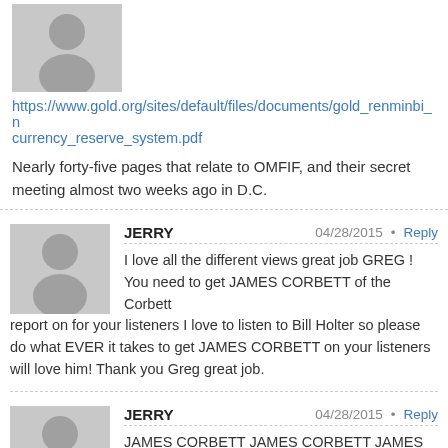[Figure (illustration): Gray placeholder avatar icon of a person silhouette]
https://www.gold.org/sites/default/files/documents/gold_renminbi_n currency_reserve_system.pdf
Nearly forty-five pages that relate to OMFIF, and their secret meeting almost two weeks ago in D.C.
[Figure (illustration): Gray placeholder avatar icon of a person silhouette]
JERRY
04/28/2015 · Reply
I love all the different views great job GREG ! You need to get JAMES CORBETT of the Corbett report on for your listeners I love to listen to Bill Holter so please do what EVER it takes to get JAMES CORBETT on your listeners will love him! Thank you Greg great job.
[Figure (illustration): Gray placeholder avatar icon of a person silhouette]
JERRY
04/28/2015 · Reply
JAMES CORBETT JAMES CORBETT JAMES CORBETT